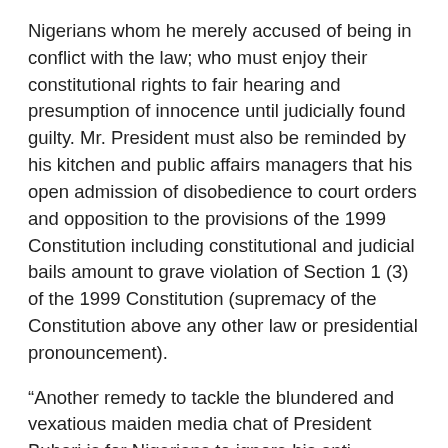Nigerians whom he merely accused of being in conflict with the law; who must enjoy their constitutional rights to fair hearing and presumption of innocence until judicially found guilty. Mr. President must also be reminded by his kitchen and public affairs managers that his open admission of disobedience to court orders and opposition to the provisions of the 1999 Constitution including constitutional and judicial bails amount to grave violation of Section 1 (3) of the 1999 Constitution (supremacy of the Constitution above any other law or presidential pronouncement).
“Another remedy to tackle the blundered and vexatious maiden media chat of President Buhari is for Nigerians to ignore his anti constitutionalism and rule of law stance and reassert their total faith in the judiciary, rule of law and constitutionalism. These three are pillars all Nigerians must stand up and protect at all times for our common good. This is more so when the same judiciary, rule of law and